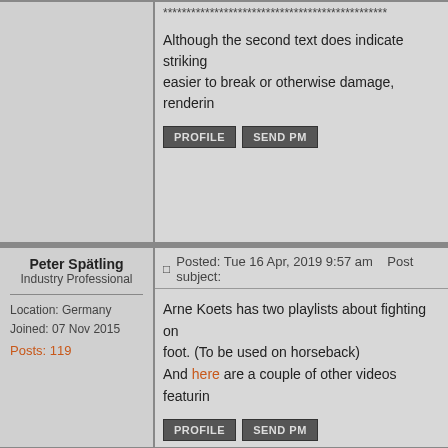******************************************
Although the second text does indicate striking... easier to break or otherwise damage, renderin...
PROFILE   SEND PM
Peter Spätling
Industry Professional
Location: Germany
Joined: 07 Nov 2015
Posts: 119
Posted: Tue 16 Apr, 2019 9:57 am   Post subject:
Arne Koets has two playlists about fighting on foot. (To be used on horseback)
And here are a couple of other videos featurin...
PROFILE   SEND PM
Display posts from prev...
Forum Index > Historical Arms Talk > How Knights use swords on horseba...
Page 1 of 1